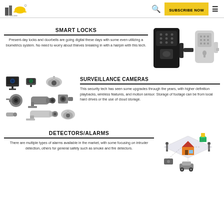PINOY BUILDERS | SUBSCRIBE NOW
SMART LOCKS
Present-day locks and doorbells are going digital these days with some even utilizing a biometrics system. No need to worry about thieves breaking in with a hairpin with this tech.
[Figure (illustration): Two smart locks: a black keypad deadbolt and a silver lever-style smart lock]
SURVEILLANCE CAMERAS
[Figure (illustration): Collection of various surveillance cameras including dome, bullet, and PTZ types]
This security tech has seen some upgrades through the years, with higher definition playbacks, wireless features, and motion sensor. Storage of footage can be from local hard drives or the use of cloud storage.
DETECTORS/ALARMS
There are multiple types of alarms available in the market, with some focusing on intruder detection, others for general safety such as smoke and fire detectors.
[Figure (illustration): Isometric illustration of a smart home security system with house, people, car, and sensors connected]